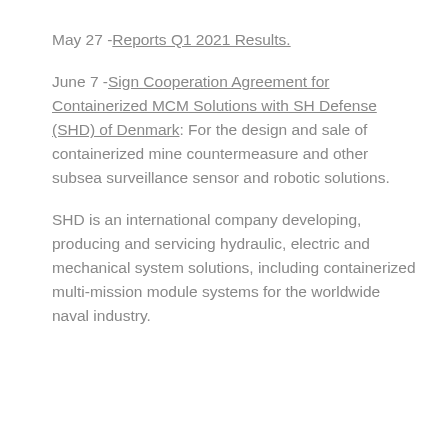May 27 - Reports Q1 2021 Results.
June 7 - Sign Cooperation Agreement for Containerized MCM Solutions with SH Defense (SHD) of Denmark: For the design and sale of containerized mine countermeasure and other subsea surveillance sensor and robotic solutions.
SHD is an international company developing, producing and servicing hydraulic, electric and mechanical system solutions, including containerized multi-mission module systems for the worldwide naval industry.